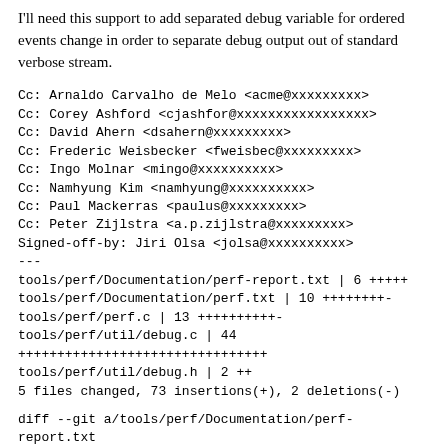I'll need this support to add separated debug variable for ordered events change in order to separate debug output out of standard verbose stream.
Cc: Arnaldo Carvalho de Melo <acme@xxxxxxxxx>
Cc: Corey Ashford <cjashfor@xxxxxxxxxxxxxxxxx>
Cc: David Ahern <dsahern@xxxxxxxxx>
Cc: Frederic Weisbecker <fweisbec@xxxxxxxxx>
Cc: Ingo Molnar <mingo@xxxxxxxxxx>
Cc: Namhyung Kim <namhyung@xxxxxxxxxx>
Cc: Paul Mackerras <paulus@xxxxxxxxx>
Cc: Peter Zijlstra <a.p.zijlstra@xxxxxxxxx>
Signed-off-by: Jiri Olsa <jolsa@xxxxxxxxxx>
---
tools/perf/Documentation/perf-report.txt | 6 +++++
tools/perf/Documentation/perf.txt | 10 ++++++++-
tools/perf/perf.c | 13 ++++++++++-
tools/perf/util/debug.c | 44
++++++++++++++++++++++++++++++++
tools/perf/util/debug.h | 2 ++
5 files changed, 73 insertions(+), 2 deletions(-)
diff --git a/tools/perf/Documentation/perf-report.txt
b/tools/perf/Documentation/perf-report.txt